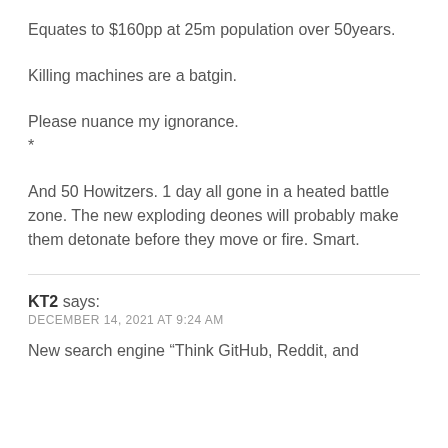Equates to $160pp at 25m population over 50years.
Killing machines are a batgin.
Please nuance my ignorance.
*
And 50 Howitzers. 1 day all gone in a heated battle zone. The new exploding deones will probably make them detonate before they move or fire. Smart.
KT2 says:
DECEMBER 14, 2021 AT 9:24 AM
New search engine “Think GitHub, Reddit, and